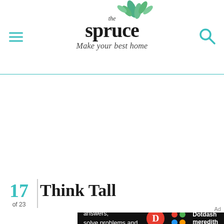the spruce — Make your best home
Think Tall
17 of 23
[Figure (screenshot): Dotdash Meredith advertisement banner: 'We help people find answers, solve problems and get inspired.' with Dotdash Meredith logo]
Ad